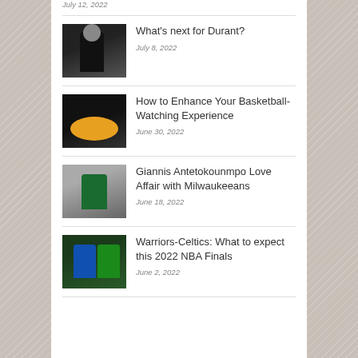July 12, 2022
What's next for Durant? — July 8, 2022
How to Enhance Your Basketball-Watching Experience — June 30, 2022
Giannis Antetokounmpo Love Affair with Milwaukeeans — June 18, 2022
Warriors-Celtics: What to expect this 2022 NBA Finals — June 2, 2022